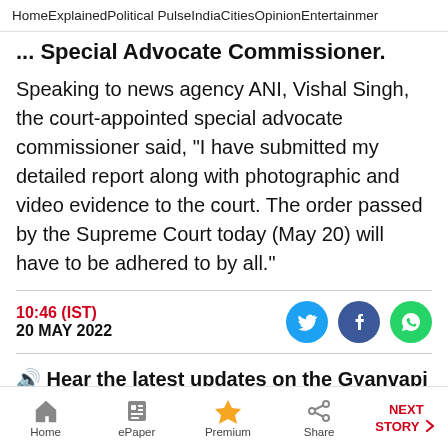Home  Explained  Political Pulse  India  Cities  Opinion  Entertainment
... Special Advocate Commissioner.
Speaking to news agency ANI, Vishal Singh, the court-appointed special advocate commissioner said, "I have submitted my detailed report along with photographic and video evidence to the court. The order passed by the Supreme Court today (May 20) will have to be adhered to by all."
10:46 (IST)
20 MAY 2022
🔊 Hear the latest updates on the Gyanvapi mosque case
Home  ePaper  Premium  Share  NEXT STORY